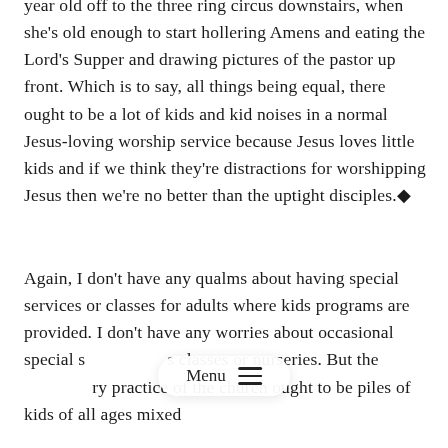year old off to the three ring circus downstairs, when she's old enough to start hollering Amens and eating the Lord's Supper and drawing pictures of the pastor up front. Which is to say, all things being equal, there ought to be a lot of kids and kid noises in a normal Jesus-loving worship service because Jesus loves little kids and if we think they're distractions for worshipping Jesus then we're no better than the uptight disciples.◆
Again, I don't have any qualms about having special services or classes for adults where kids programs are provided. I don't have any worries about occasional special s[...] classes or nurseries. But the [...] ry practice of the church ought to be piles of kids of all ages mixed